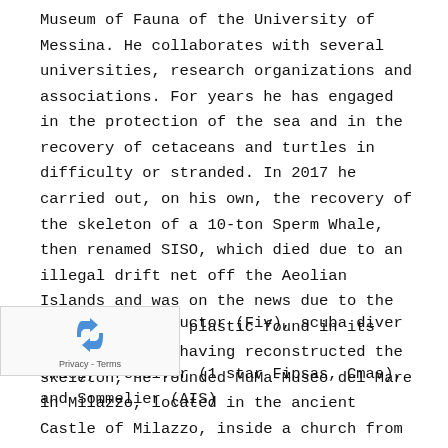Museum of Fauna of the University of Messina. He collaborates with several universities, research organizations and associations. For years he has engaged in the protection of the sea and in the recovery of cetaceans and turtles in difficulty or stranded. In 2017 he carried out, on his own, the recovery of the skeleton of a 10-ton Sperm Whale, then renamed SISO, which died due to an illegal drift net off the Aeolian Islands and was on the news due to the large amount of plastic found in its stomach. After having reconstructed the skeleton, he founded MuMa-Museo del Mare in Milazzo, located in the ancient Castle of Milazzo, inside a church from 1529 which was later transformed into a military bastion. In 2019, a conference with the Minister of the Environment, Sergio Costa, was held in the Museum.
[Figure (other): reCAPTCHA widget with recycling arrow icon and Privacy - Terms text]
sailing instructor (Fiv), scuba diver (1 star Fipsas-Cmas), Freediver (1 star Fipsas, Cmas), and Sommelier (AIS)